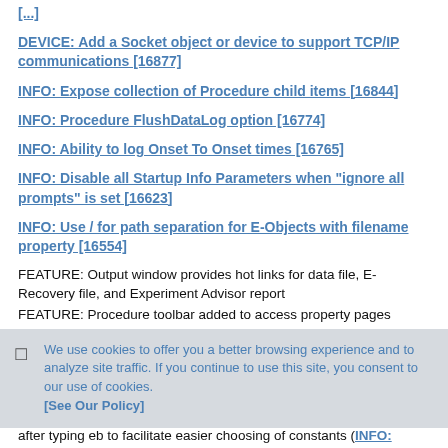[...] (partial, top of page, truncated)
DEVICE: Add a Socket object or device to support TCP/IP communications [16877]
INFO: Expose collection of Procedure child items [16844]
INFO: Procedure FlushDataLog option [16774]
INFO: Ability to log Onset To Onset times [16765]
INFO: Disable all Startup Info Parameters when "ignore all prompts" is set [16623]
INFO: Use / for path separation for E-Objects with filename property [16554]
FEATURE: Output window provides hot links for data file, E-Recovery file, and Experiment Advisor report
FEATURE: Procedure toolbar added to access property pages
We use cookies to offer you a better browsing experience and to analyze site traffic. If you continue to use this site, you consent to our use of cookies. [See Our Policy]
after typing eb to facilitate easier choosing of constants (INFO: